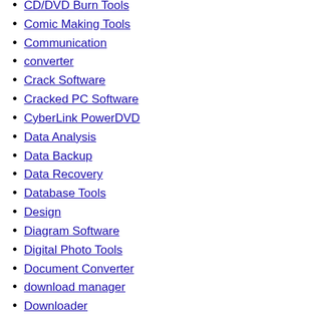CD/DVD Burn Tools
Comic Making Tools
Communication
converter
Crack Software
Cracked PC Software
CyberLink PowerDVD
Data Analysis
Data Backup
Data Recovery
Database Tools
Design
Diagram Software
Digital Photo Tools
Document Converter
download manager
Downloader
Driver
Driver Updater
Drivers
DVD Ripping
Easeus Data Recovery
Editing Tools
Education Software
Educational Software